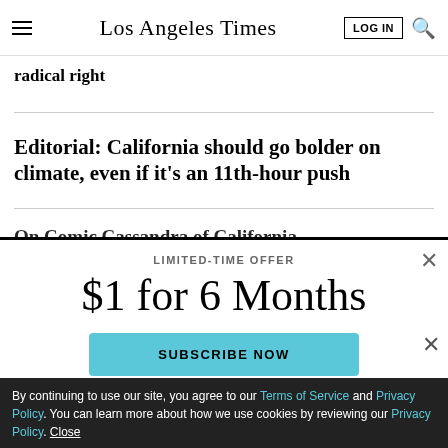Los Angeles Times
radical right
Editorial: California should go bolder on climate, even if it’s an 11th-hour push
On Comic Cassandra of California
LIMITED-TIME OFFER
$1 for 6 Months
SUBSCRIBE NOW
By continuing to use our site, you agree to our Terms of Service and Privacy Policy. You can learn more about how we use cookies by reviewing our Privacy Policy. Close